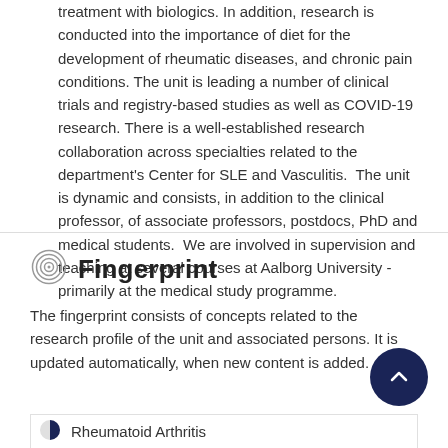treatment with biologics. In addition, research is conducted into the importance of diet for the development of rheumatic diseases, and chronic pain conditions. The unit is leading a number of clinical trials and registry-based studies as well as COVID-19 research. There is a well-established research collaboration across specialties related to the department's Center for SLE and Vasculitis.  The unit is dynamic and consists, in addition to the clinical professor, of associate professors, postdocs, PhD and medical students.  We are involved in supervision and teaching at several courses at Aalborg University - primarily at the medical study programme.
Fingerprint
The fingerprint consists of concepts related to the research profile of the unit and associated persons. It is updated automatically, when new content is added.
Rheumatoid Arthritis